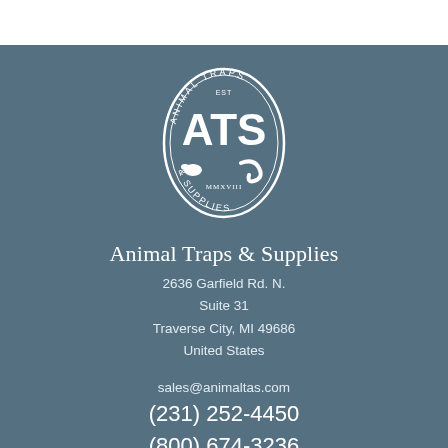[Figure (logo): Animal Traps & Supplies oval logo with ATS letters and animal silhouettes, white on steel-blue background]
Animal Traps & Supplies
2636 Garfield Rd. N.
Suite 31
Traverse City, MI 49686
United States
sales@animaltas.com
(231) 252-4450
(800) 674-3236
[Figure (logo): White Facebook 'f' icon on white circle background]